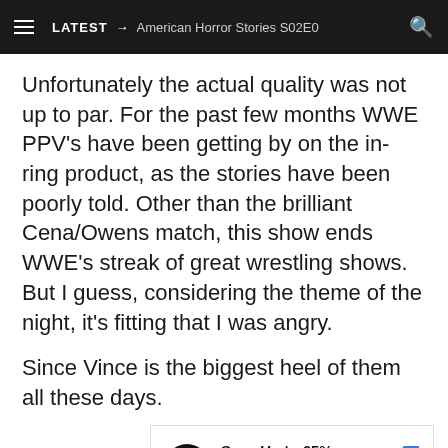LATEST → American Horror Stories S02E0
Unfortunately the actual quality was not up to par. For the past few months WWE PPV's have been getting by on the in-ring product, as the stories have been poorly told. Other than the brilliant Cena/Owens match, this show ends WWE's streak of great wrestling shows. But I guess, considering the theme of the night, it's fitting that I was angry.
Since Vince is the biggest heel of them all these days.
[Figure (other): Advertisement banner: Save Up to 65% Leesburg Premium Outlets with logo and navigation arrow icon]